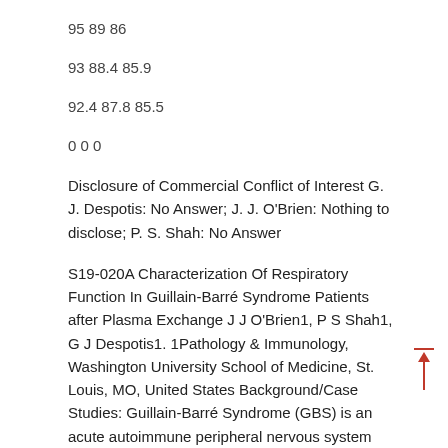95 89 86
93 88.4 85.9
92.4 87.8 85.5
0 0 0
Disclosure of Commercial Conflict of Interest G. J. Despotis: No Answer; J. J. O'Brien: Nothing to disclose; P. S. Shah: No Answer
S19-020A Characterization Of Respiratory Function In Guillain-Barré Syndrome Patients after Plasma Exchange J J O'Brien1, P S Shah1, G J Despotis1. 1Pathology & Immunology, Washington University School of Medicine, St. Louis, MO, United States Background/Case Studies: Guillain-Barré Syndrome (GBS) is an acute autoimmune peripheral nervous system polyneuropathy, frequently triggered by an infection. GBS is characterized by ascending paralysis and weakness, beginning in the feet and hands